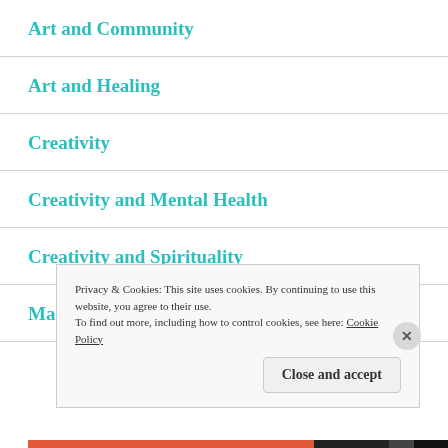Art and Community
Art and Healing
Creativity
Creativity and Mental Health
Creativity and Spirituality
Mark Making
Privacy & Cookies: This site uses cookies. By continuing to use this website, you agree to their use.
To find out more, including how to control cookies, see here: Cookie Policy
Close and accept